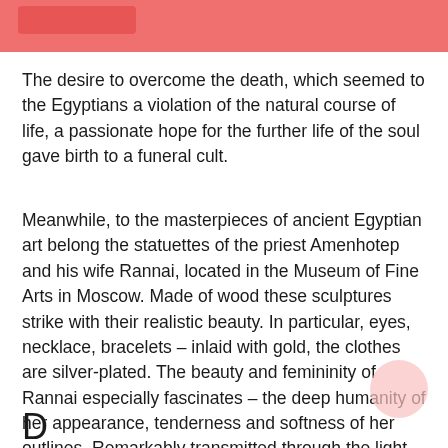[Figure (other): Red/salmon colored header bar with a darker red rectangle element inside]
The desire to overcome the death, which seemed to the Egyptians a violation of the natural course of life, a passionate hope for the further life of the soul gave birth to a funeral cult.
Meanwhile, to the masterpieces of ancient Egyptian art belong the statuettes of the priest Amenhotep and his wife Rannai, located in the Museum of Fine Arts in Moscow. Made of wood these sculptures strike with their realistic beauty. In particular, eyes, necklace, bracelets – inlaid with gold, the clothes are silver-plated. The beauty and femininity of Rannai especially fascinates – the deep humanity of her appearance, tenderness and softness of her outlines. Remarkably transmitted through the light transparent textile her body, beautifully fall on the left shoulder curls of a wig.
D...